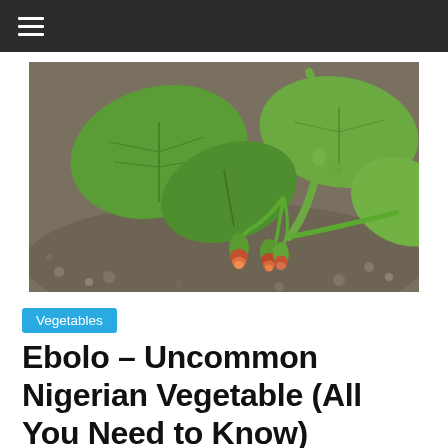≡ (navigation menu)
[Figure (photo): Photo of ebolo plant with green leaves and small flower buds, growing close to the ground on gravelly soil]
Vegetables
Ebolo – Uncommon Nigerian Vegetable (All You Need to Know)
July 26, 2021  Odiraa  0 Comments  ebolo in english,